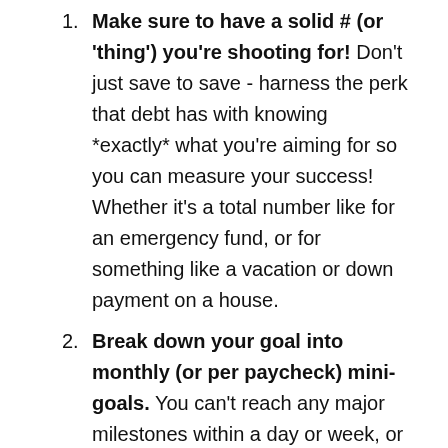1. Make sure to have a solid # (or 'thing') you're shooting for! Don't just save to save - harness the perk that debt has with knowing *exactly* what you're aiming for so you can measure your success! Whether it's a total number like for an emergency fund, or for something like a vacation or down payment on a house.
2. Break down your goal into monthly (or per paycheck) mini-goals. You can't reach any major milestones within a day or week, or even a month/year for most of them, so remind yourself it all takes time and that you have a better chance of success working...